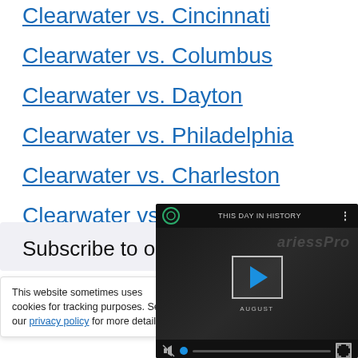Clearwater vs. Cincinnati
Clearwater vs. Columbus
Clearwater vs. Dayton
Clearwater vs. Philadelphia
Clearwater vs. Charleston
Clearwater vs. Columbia
Subscribe to o
This website sometimes uses cookies for tracking purposes. See our privacy policy for more details.
[Figure (screenshot): Video overlay showing 'THIS DAY IN HISTORY' with a play button, mute icon, and progress bar. Month label 'AUGUST' visible.]